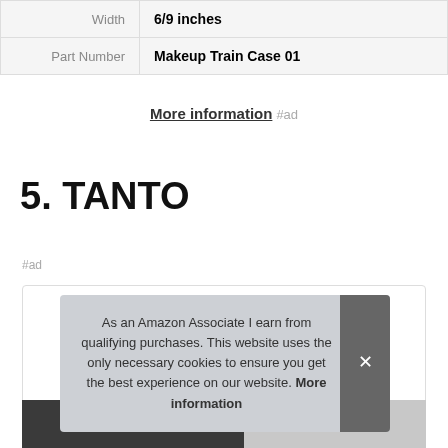| Width | 6/9 inches |
| Part Number | Makeup Train Case 01 |
More information #ad
5. TANTO
#ad
As an Amazon Associate I earn from qualifying purchases. This website uses the only necessary cookies to ensure you get the best experience on our website. More information
[Figure (photo): Product image partially visible at the bottom of the page]